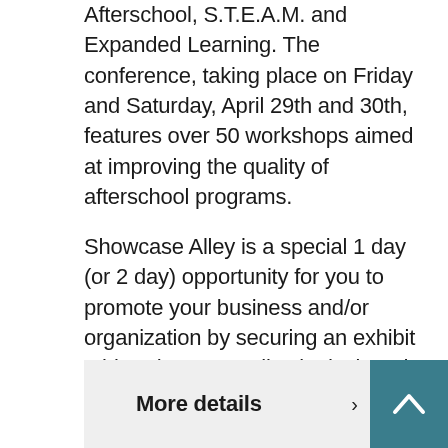Afterschool, S.T.E.A.M. and Expanded Learning. The conference, taking place on Friday and Saturday, April 29th and 30th, features over 50 workshops aimed at improving the quality of afterschool programs.
Showcase Alley is a special 1 day (or 2 day) opportunity for you to promote your business and/or organization by securing an exhibit table. Showcase Alley is designed so that ALL conference participants are channeled through the exhibits between 11am to 1pm on both conference days.
More details